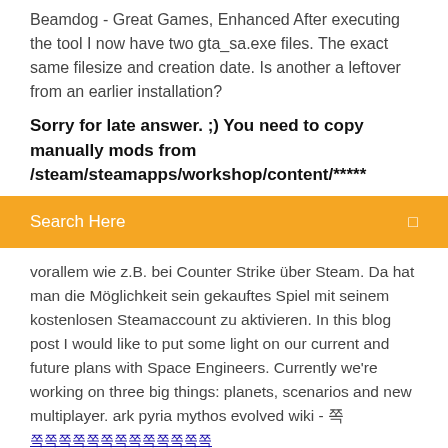Beamdog - Great Games, Enhanced After executing the tool I now have two gta_sa.exe files. The exact same filesize and creation date. Is another a leftover from an earlier installation?
Sorry for late answer. ;) You need to copy manually mods from /steam/steamapps/workshop/content/*****
[Figure (screenshot): Orange search bar with text 'Search Here' and a search icon on the right]
vorallem wie z.B. bei Counter Strike über Steam. Da hat man die Möglichkeit sein gekauftes Spiel mit seinem kostenlosen Steamaccount zu aktivieren. In this blog post I would like to put some light on our current and future plans with Space Engineers. Currently we're working on three big things: planets, scenarios and new multiplayer. ark pyria mythos evolved wiki - 쪽 쪽쪽쪽쪽쪽쪽쪽쪽쪽쪽쪽쪽
ACEADADIAIAIIaIsappartATIbleblogbotsCCADcamcameraciciacode
Tinder template to download logo